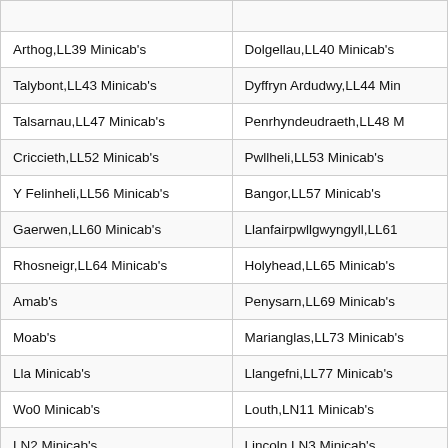| Location (Left) | Location (Right) |
| --- | --- |
| Arthog,LL39 Minicab's | Dolgellau,LL40 Minicab's |
| Talybont,LL43 Minicab's | Dyffryn Ardudwy,LL44 Min… |
| Talsarnau,LL47 Minicab's | Penrhyndeudraeth,LL48 M… |
| Criccieth,LL52 Minicab's | Pwllheli,LL53 Minicab's |
| Y Felinheli,LL56 Minicab's | Bangor,LL57 Minicab's |
| Gaerwen,LL60 Minicab's | Llanfairpwllgwyngyll,LL61… |
| Rhosneigr,LL64 Minicab's | Holyhead,LL65 Minicab's |
| Am…,LL…ab's | Penysarn,LL69 Minicab's |
| Mo…,LL…ab's | Marianglas,LL73 Minicab's |
| Lla…,LL… Minicab's | Llangefni,LL77 Minicab's |
| Wo…,LL…0 Minicab's | Louth,LN11 Minicab's |
| …LN2 Minicab's | Lincoln,LN3 Minicab's |